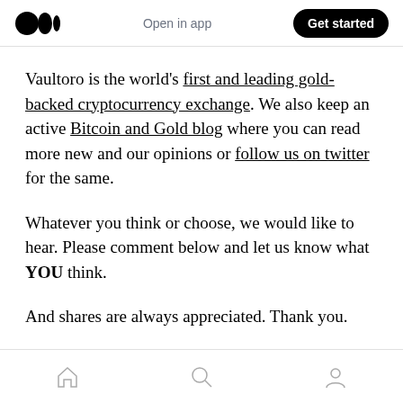Medium logo | Open in app | Get started
Vaultoro is the world's first and leading gold-backed cryptocurrency exchange. We also keep an active Bitcoin and Gold blog where you can read more new and our opinions or follow us on twitter for the same.
Whatever you think or choose, we would like to hear. Please comment below and let us know what YOU think.
And shares are always appreciated. Thank you.
Home | Search | Profile